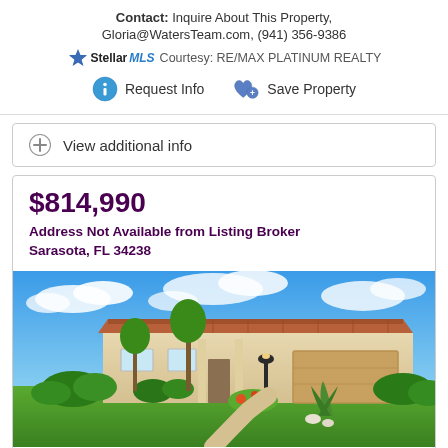Contact: Inquire About This Property, Gloria@WatersTeam.com, (941) 356-9386
Courtesy: RE/MAX PLATINUM REALTY
Request Info   Save Property
View additional info
$814,990
Address Not Available from Listing Broker Sarasota, FL 34238
[Figure (photo): Exterior photo of a single-story Florida home with terracotta tile roof, beige/stucco exterior, two-car garage, lamp post, and beautifully landscaped front yard with tropical plants, green lawn, and blue sky with clouds.]